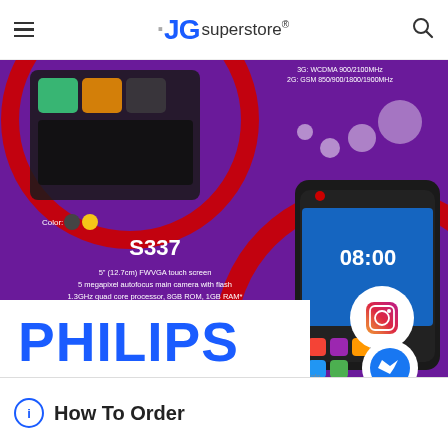JG superstore®
[Figure (photo): Philips S337 smartphone product image with purple background showing phone specs: 5" (12.7cm) FWVGA touch screen, 5 megapixel autofocus main camera with flash, 1.3GHz quad core processor, 8GB ROM, 1GB RAM*, Dual SIM, Android 5.1, XPower tech, MicroSD memory card slot (Supports MicroSD cards of up to 32GB capacity**), 3G: WCDMA 900/2100MHz, 2G: GSM 850/900/1800/1900MHz. PHILIPS logo in blue at bottom. Instagram and Messenger floating icons overlay.]
How To Order